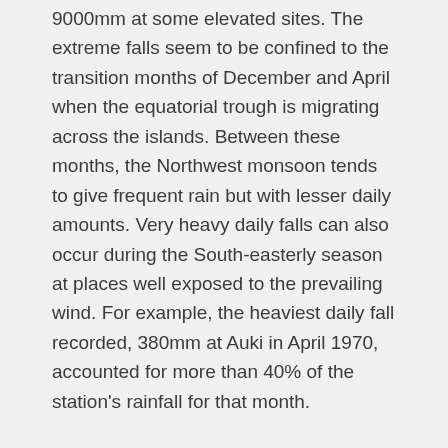9000mm at some elevated sites. The extreme falls seem to be confined to the transition months of December and April when the equatorial trough is migrating across the islands. Between these months, the Northwest monsoon tends to give frequent rain but with lesser daily amounts. Very heavy daily falls can also occur during the South-easterly season at places well exposed to the prevailing wind. For example, the heaviest daily fall recorded, 380mm at Auki in April 1970, accounted for more than 40% of the station's rainfall for that month.
Temperature
The main feature of temperature in the